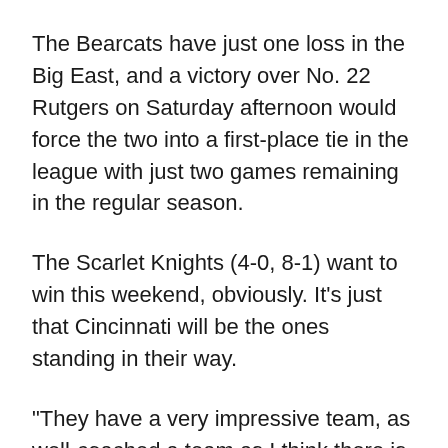The Bearcats have just one loss in the Big East, and a victory over No. 22 Rutgers on Saturday afternoon would force the two into a first-place tie in the league with just two games remaining in the regular season.
The Scarlet Knights (4-0, 8-1) want to win this weekend, obviously. It's just that Cincinnati will be the ones standing in their way.
"They have a very impressive team, as well-coached a team as I think there is in our conference, and I think around the country, a very well-balanced team," Rutgers coach Kyle Flood said in his weekly press conference. "It's a Big East championship game that we are really excited about as a program."
The Bearcats have one of the most balanced…